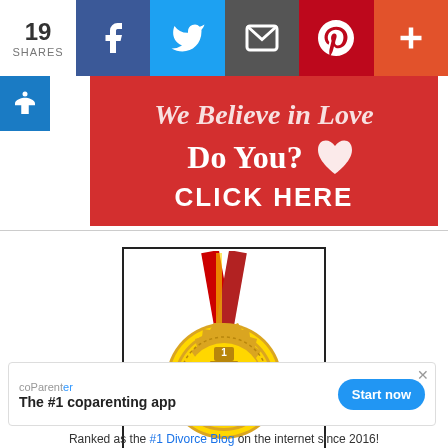[Figure (screenshot): Social share bar showing 19 shares with Facebook, Twitter, email, Pinterest, and plus buttons]
[Figure (infographic): Red banner advertisement with text: We Believe in Love Do You? CLICK HERE with a white heart icon]
[Figure (illustration): Gold medal with red ribbon awarded Top 100 Divorce Blog with number 1 trophy icon]
[Figure (screenshot): coParenter app advertisement banner: The #1 coparenting app with Start now button]
Ranked as the #1 Divorce Blog on the internet since 2016!